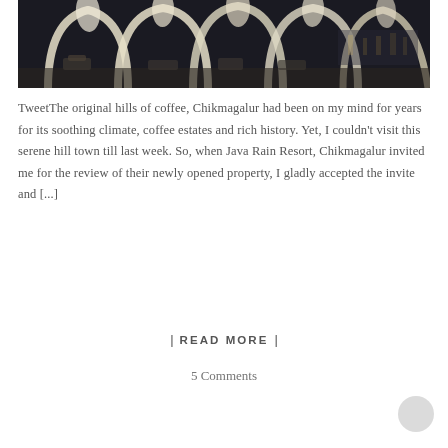[Figure (photo): Night-time photo of a resort or architectural space with white arch and petal-shaped structures illuminated against a dark sky, with lounge furniture visible underneath.]
TweetThe original hills of coffee, Chikmagalur had been on my mind for years for its soothing climate, coffee estates and rich history. Yet, I couldn't visit this serene hill town till last week. So, when Java Rain Resort, Chikmagalur invited me for the review of their newly opened property, I gladly accepted the invite and [...]
| READ MORE |
5 Comments